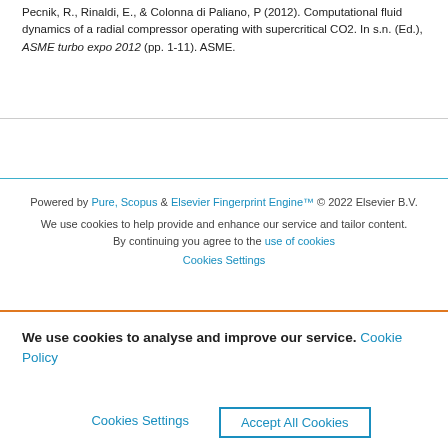Pecnik, R., Rinaldi, E., & Colonna di Paliano, P (2012). Computational fluid dynamics of a radial compressor operating with supercritical CO2. In s.n. (Ed.), ASME turbo expo 2012 (pp. 1-11). ASME.
Powered by Pure, Scopus & Elsevier Fingerprint Engine™ © 2022 Elsevier B.V.
We use cookies to help provide and enhance our service and tailor content. By continuing you agree to the use of cookies
Cookies Settings
We use cookies to analyse and improve our service. Cookie Policy
Cookies Settings   Accept All Cookies